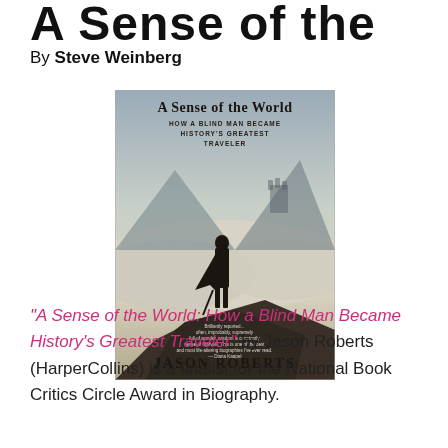A Sense of the World
By Steve Weinberg
[Figure (illustration): Book cover of 'A Sense of the World: How a Blind Man Became History's Greatest Traveler' by Jason Roberts (HarperCollins). Shows a silhouette of a man standing on rocks above clouds, with misty mountains in the background. Title and author name printed on cover.]
“A Sense of the World: How a Blind Man Became History’s Greatest Traveler” by Jason Roberts (HarperCollins) is a finalist for the National Book Critics Circle Award in Biography.